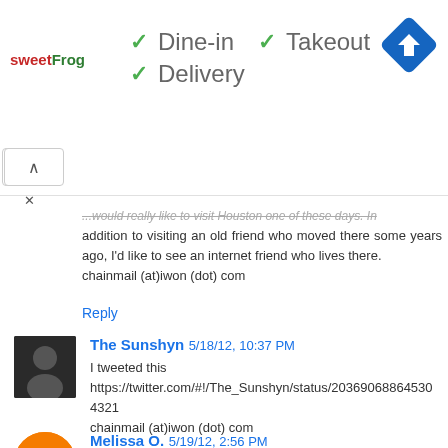[Figure (infographic): Ad banner with sweetFrog logo, checkmarks for Dine-in, Takeout, Delivery, and a blue diamond map/navigation icon]
...would really like to visit Houston one of these days. In addition to visiting an old friend who moved there some years ago, I'd like to see an internet friend who lives there. chainmail (at)iwon (dot) com
Reply
The Sunshyn 5/18/12, 10:37 PM
I tweeted this https://twitter.com/#!/The_Sunshyn/status/203690688864530 4321 chainmail (at)iwon (dot) com
Reply
Melissa O. 5/19/12, 2:56 PM
Commenting: hiking in Big Bend...